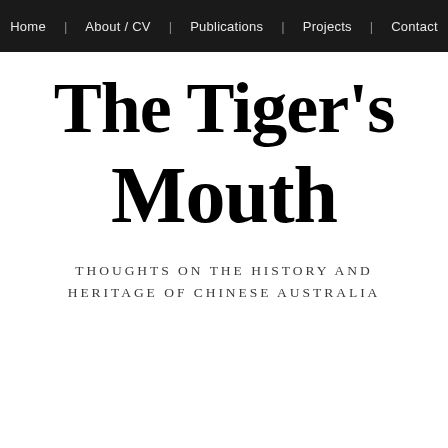Home | About / CV | Publications | Projects | Contact
The Tiger's Mouth
THOUGHTS ON THE HISTORY AND HERITAGE OF CHINESE AUSTRALIA